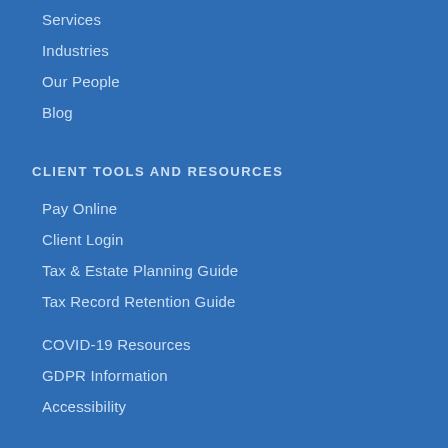Services
Industries
Our People
Blog
CLIENT TOOLS AND RESOURCES
Pay Online
Client Login
Tax & Estate Planning Guide
Tax Record Retention Guide
COVID-19 Resources
GDPR Information
Accessibility